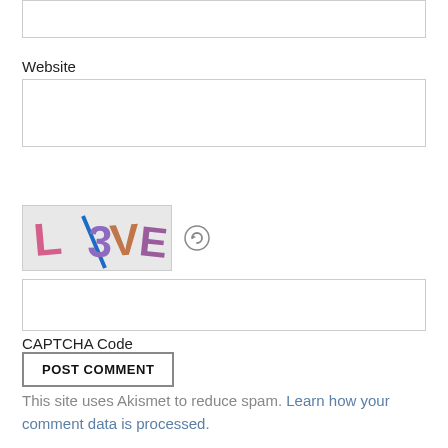[Figure (screenshot): Top input box (partially visible, cropped at top of page)]
Website
[Figure (screenshot): Website text input field]
[Figure (other): CAPTCHA image showing distorted text 'L/3VE' with a refresh icon]
[Figure (screenshot): CAPTCHA code text input field]
CAPTCHA Code
*
POST COMMENT
This site uses Akismet to reduce spam. Learn how your comment data is processed.